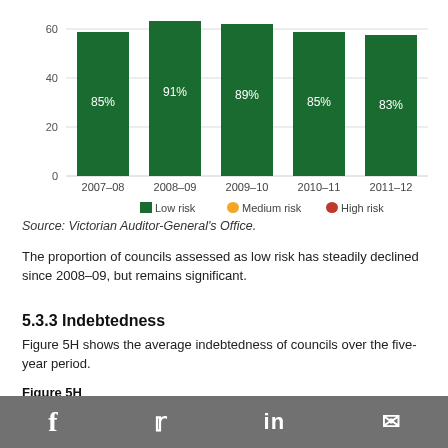[Figure (bar-chart): ]
Source: Victorian Auditor-General's Office.
The proportion of councils assessed as low risk has steadily declined since 2008–09, but remains significant.
5.3.3 Indebtedness
Figure 5H shows the average indebtedness of councils over the five-year period.
Figure 5H
f  twitter  in  mail